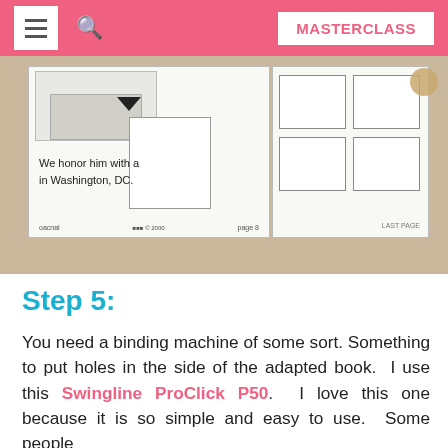MASTERCLASS
[Figure (photo): Photo of two open book pages on a carpet — the left page shows partial text 'We honor him with a in Washington, DC.' and page number 8, the right page shows a 2x2 grid of empty boxes. Both pages appear to be parts of an adapted book.]
Step 5:
You need a binding machine of some sort. Something to put holes in the side of the adapted book.  I use this Swingline ProClick P50.  I love this one because it is so simple and easy to use.  Some people